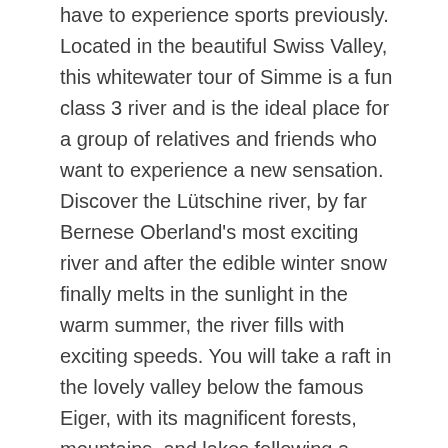have to experience sports previously. Located in the beautiful Swiss Valley, this whitewater tour of Simme is a fun class 3 river and is the ideal place for a group of relatives and friends who want to experience a new sensation. Discover the Lütschine river, by far Bernese Oberland's most exciting river and after the edible winter snow finally melts in the sunlight in the warm summer, the river fills with exciting speeds. You will take a raft in the lovely valley below the famous Eiger, with its magnificent forests, mountains, and lakes following a thorough briefing by experienced guides.
Canoe Kayak
Gather your family and come on a magical kayak on Lake Brienz, surrounded by beautiful natural landscapes, on one of the most enchanting lakes in Switzerland, and come on a trip for...